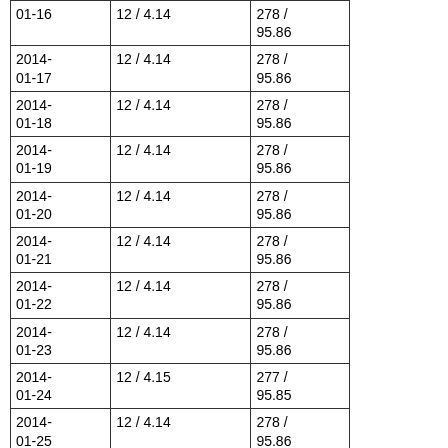| Date | Rate | Value |
| --- | --- | --- |
| 2014-01-16 | 12 / 4.14 | 278 / 95.86 |
| 2014-01-17 | 12 / 4.14 | 278 / 95.86 |
| 2014-01-18 | 12 / 4.14 | 278 / 95.86 |
| 2014-01-19 | 12 / 4.14 | 278 / 95.86 |
| 2014-01-20 | 12 / 4.14 | 278 / 95.86 |
| 2014-01-21 | 12 / 4.14 | 278 / 95.86 |
| 2014-01-22 | 12 / 4.14 | 278 / 95.86 |
| 2014-01-23 | 12 / 4.14 | 278 / 95.86 |
| 2014-01-24 | 12 / 4.15 | 277 / 95.85 |
| 2014-01-25 | 12 / 4.14 | 278 / 95.86 |
| 2014-01-26 | 12 / 4.14 | 278 / 95.86 |
| 2014-01-29 | 12 / 4.14 | 278 / 95.86 |
| 2014-01-30 | 12 / 4.14 | 278 / 95.86 |
| 2014-02-01 | 12 / 4.14 | 278 / 95.86 |
| 2014-02-02 | 12 / 4.14 | 278 / 95.86 |
| 2014- | 12 / 4.14 | 278 / |